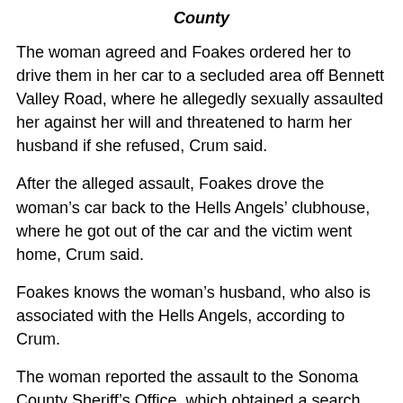County
The woman agreed and Foakes ordered her to drive them in her car to a secluded area off Bennett Valley Road, where he allegedly sexually assaulted her against her will and threatened to harm her husband if she refused, Crum said.
After the alleged assault, Foakes drove the woman’s car back to the Hells Angels’ clubhouse, where he got out of the car and the victim went home, Crum said.
Foakes knows the woman’s husband, who also is associated with the Hells Angels, according to Crum.
The woman reported the assault to the Sonoma County Sheriff’s Office, which obtained a search warrant for Foakes’ home in Rohnert Park. The sheriff’s SWAT unit went to the house around 6:30 p.m. Monday but Foakes was not home, Crum said.
Foakes was later arrested at a meeting he was attending off Airway Drive in Santa Rosa, Crum said.